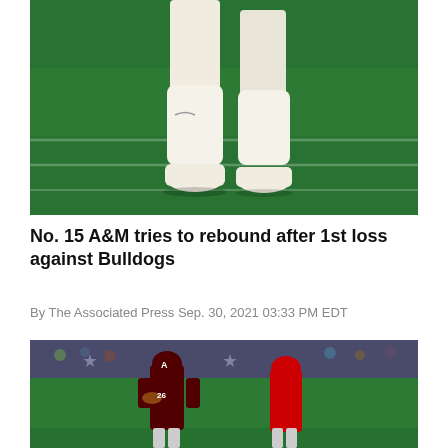[Figure (photo): Close-up of a football player's legs in white cleats and white socks running on a green turf field with white yard lines visible.]
No. 15 A&M tries to rebound after 1st loss against Bulldogs
By The Associated Press Sep. 30, 2021 03:33 PM EDT
[Figure (photo): Texas A&M player wearing #26 in maroon and white uniform carries the football during a game inside a stadium, with an Arkansas defender in red uniform chasing, and a large crowd in the background.]